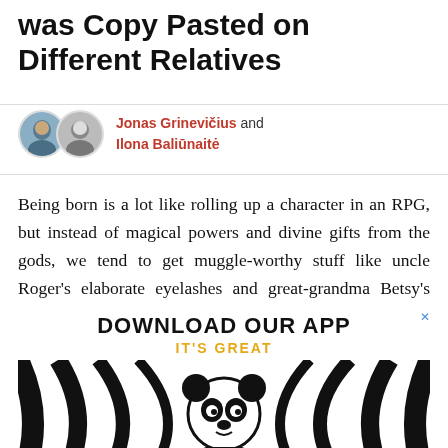was Copy Pasted on Different Relatives
Jonas Grinevičius and Ilona Baliūnaitė
Being born is a lot like rolling up a character in an RPG, but instead of magical powers and divine gifts from the gods, we tend to get muggle-worthy stuff like uncle Roger's elaborate eyelashes and great-grandma Betsy's charming smile. However… How-e-ver!
[Figure (illustration): Advertisement banner reading 'DOWNLOAD OUR APP – IT'S GREAT' with a black and white swirl pattern and a cartoon panda robot holding a phone]